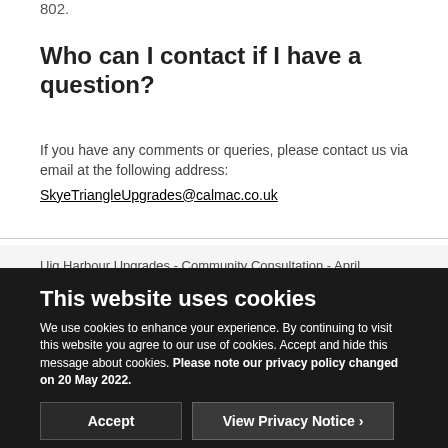802.
Who can I contact if I have a question?
If you have any comments or queries, please contact us via email at the following address: SkyeTriangleUpgrades@calmac.co.uk
Uig Harbour Upgrades - Community Consultation - April
This website uses cookies
We use cookies to enhance your experience. By continuing to visit this website you agree to our use of cookies. Accept and hide this message about cookies. Please note our privacy policy changed on 20 May 2022.
Accept
View Privacy Notice >